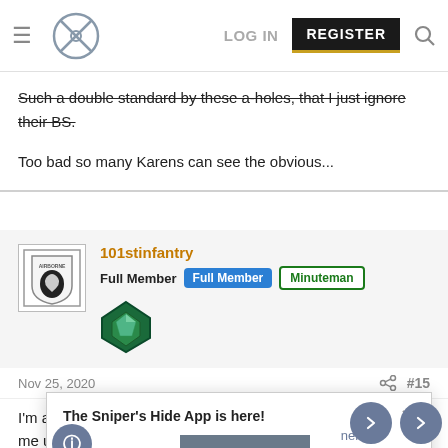LOG IN  REGISTER
Such a double standard by these a-holes, that I just ignore their BS.

Too bad so many Karens can see the obvious...
101stinfantry
Full Member  Full Member  Minuteman
Nov 25, 2020  #15
I'm a life member, but they aren't getting another dime from me u[...] to GOA until t[...]
The Sniper's Hide App is here!
Download the app  DOWNLOAD